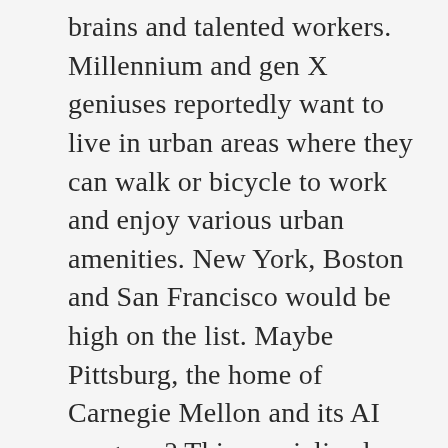brains and talented workers. Millennium and gen X geniuses reportedly want to live in urban areas where they can walk or bicycle to work and enjoy various urban amenities. New York, Boston and San Francisco would be high on the list. Maybe Pittsburg, the home of Carnegie Mellon and its AI program? This specialized workforce reportedly doesn’t care about climate or high taxes. Otherwise Florida would be high on the list. But Florida is where grandpa lives and where you take the kids to visit